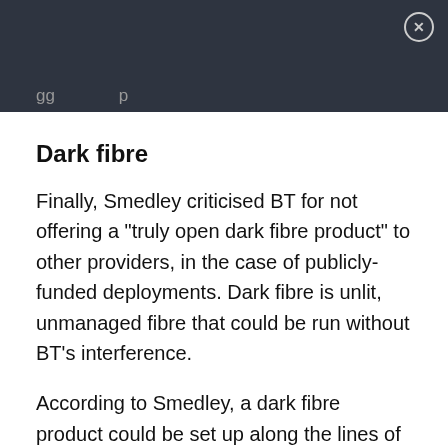gg p
Dark fibre
Finally, Smedley criticised BT for not offering a "truly open dark fibre product" to other providers, in the case of publicly-funded deployments. Dark fibre is unlit, unmanaged fibre that could be run without BT's interference.
According to Smedley, a dark fibre product could be set up along the lines of 'local-loop unbundling' (LLU). Regulators forced BT to institute LLU on its copper network, so that rivals could avoid having to